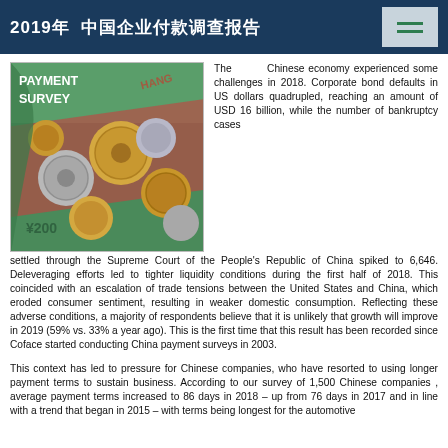2019年 中国企业付款调查报告
[Figure (photo): Photo of Chinese coins and currency notes with text overlay reading PAYMENT SURVEY]
The Chinese economy experienced some challenges in 2018. Corporate bond defaults in US dollars quadrupled, reaching an amount of USD 16 billion, while the number of bankruptcy cases settled through the Supreme Court of the People's Republic of China spiked to 6,646. Deleveraging efforts led to tighter liquidity conditions during the first half of 2018. This coincided with an escalation of trade tensions between the United States and China, which eroded consumer sentiment, resulting in weaker domestic consumption. Reflecting these adverse conditions, a majority of respondents believe that it is unlikely that growth will improve in 2019 (59% vs. 33% a year ago). This is the first time that this result has been recorded since Coface started conducting China payment surveys in 2003.
This context has led to pressure for Chinese companies, who have resorted to using longer payment terms to sustain business. According to our survey of 1,500 Chinese companies , average payment terms increased to 86 days in 2018 – up from 76 days in 2017 and in line with a trend that began in 2015 – with terms being longest for the automotive